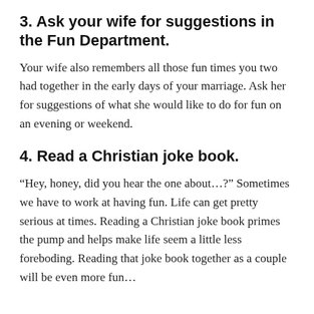3. Ask your wife for suggestions in the Fun Department.
Your wife also remembers all those fun times you two had together in the early days of your marriage. Ask her for suggestions of what she would like to do for fun on an evening or weekend.
4. Read a Christian joke book.
“Hey, honey, did you hear the one about…?” Sometimes we have to work at having fun. Life can get pretty serious at times. Reading a Christian joke book primes the pump and helps make life seem a little less foreboding. Reading that joke book together as a couple will be even more fun…